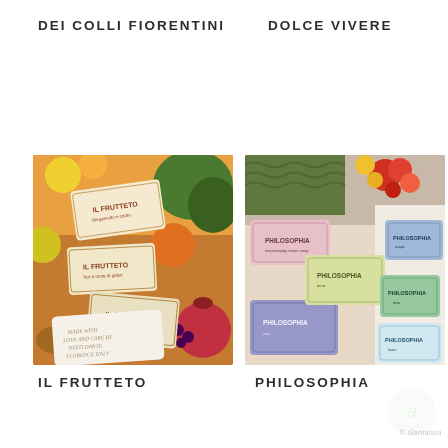DEI COLLI FIORENTINI
DOLCE VIVERE
[Figure (photo): Collection of IL FRUTTETO fruit-themed soap bars with colorful labels featuring various fruits, arranged together with fresh fruits like pomegranates, lemons, and berries. A plain white soap bar in the foreground reads 'Made with Love and Care by Nesti Dante Florence Italy'.]
[Figure (photo): Collection of PHILOSOPHIA soap bars with various colorful labels, arranged with flowers and towels in the background. Soaps include various scents/varieties shown in pink, blue, green, and multicolor packaging.]
IL FRUTTETO
PHILOSOPHIA